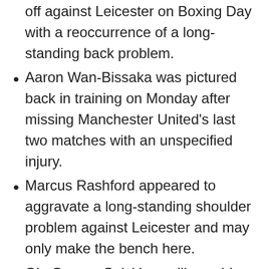off against Leicester on Boxing Day with a reoccurrence of a long-standing back problem.
Aaron Wan-Bissaka was pictured back in training on Monday after missing Manchester United's last two matches with an unspecified injury.
Marcus Rashford appeared to aggravate a long-standing shoulder problem against Leicester and may only make the bench here.
Ole Gunnar Solskjaer will consider changes given the sharp turnaround between games with Paul Pogba, Alex Telles, Edinson Cavani,